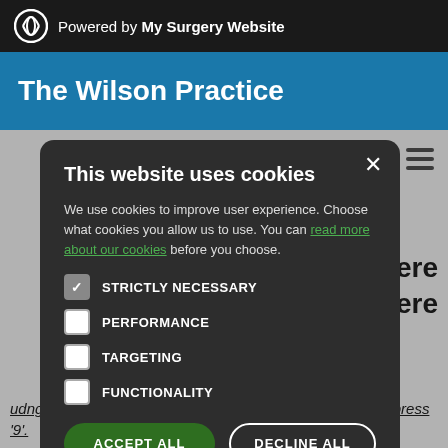Powered by My Surgery Website
The Wilson Practice
[Figure (screenshot): Cookie consent modal dialog on The Wilson Practice GP surgery website. Modal on dark background with title 'This website uses cookies', body text about cookie usage with a green link 'read more about our cookies', four checkbox options (STRICTLY NECESSARY checked, PERFORMANCE unchecked, TARGETING unchecked, FUNCTIONALITY unchecked), and two buttons: ACCEPT ALL (green) and DECLINE ALL (outline). Background shows hamburger menu icon and partial text 'de severe', 'ty, severe' and footer text about Bank Holidays and phone number.]
udng Bank Holidays) Call the surgery (01420 84676) and press '9'.